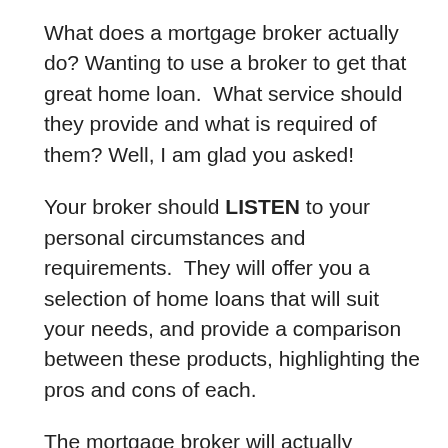What does a mortgage broker actually do? Wanting to use a broker to get that great home loan.  What service should they provide and what is required of them? Well, I am glad you asked!
Your broker should LISTEN to your personal circumstances and requirements.  They will offer you a selection of home loans that will suit your needs, and provide a comparison between these products, highlighting the pros and cons of each.
The mortgage broker will actually complete and submit a home loan application on your behalf, and communicate with the lender and